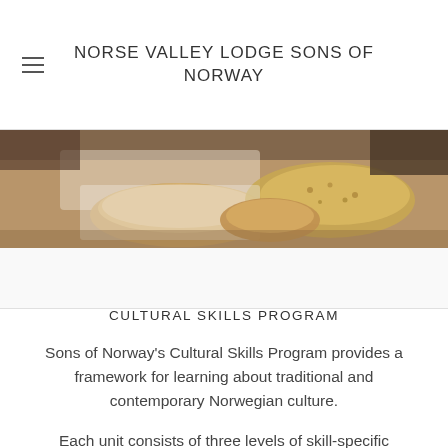NORSE VALLEY LODGE SONS OF NORWAY
[Figure (photo): A close-up photo of traditional Norwegian flatbread (flatbrød) and other baked goods on a table with cloth]
CULTURAL SKILLS PROGRAM
Sons of Norway's Cultural Skills Program provides a framework for learning about traditional and contemporary Norwegian culture.
Each unit consists of three levels of skill-specific activities to guide you as you learn.
Pins are awarded to participants as they progress through the units of the program.